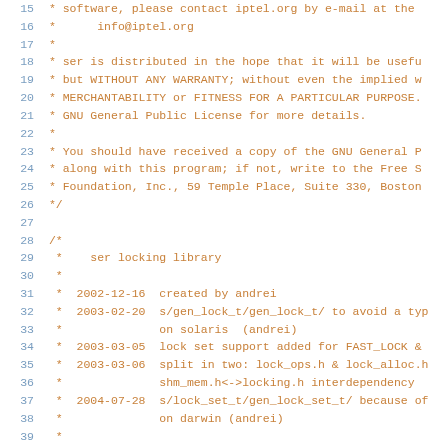Source code / C header file with license comment and locking library documentation, lines 15-43
15: * software, please contact iptel.org by e-mail at the
16: *      info@iptel.org
17: *
18: * ser is distributed in the hope that it will be usefu
19: * but WITHOUT ANY WARRANTY; without even the implied w
20: * MERCHANTABILITY or FITNESS FOR A PARTICULAR PURPOSE.
21: * GNU General Public License for more details.
22: *
23: * You should have received a copy of the GNU General P
24: * along with this program; if not, write to the Free S
25: * Foundation, Inc., 59 Temple Place, Suite 330, Boston
26: */
27:
28: /*
29: *    ser locking library
30: *
31: *  2002-12-16  created by andrei
32: *  2003-02-20  s/gen_lock_t/gen_lock_t/ to avoid a typ
33: *              on solaris  (andrei)
34: *  2003-03-05  lock set support added for FAST_LOCK &
35: *  2003-03-06  split in two: lock_ops.h & lock_alloc.h
36: *              shm_mem.h<->locking.h interdependency
37: *  2004-07-28  s/lock_set_t/gen_lock_set_t/ because of
38: *              on darwin (andrei)
39: *
40: Implements (in lock_ops.h & lock_alloc.h):
41:
42:     simple locks:
43: